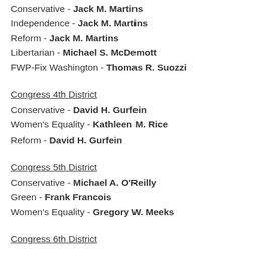Conservative - Jack M. Martins
Independence - Jack M. Martins
Reform - Jack M. Martins
Libertarian - Michael S. McDemott
FWP-Fix Washington - Thomas R. Suozzi
Congress 4th District
Conservative - David H. Gurfein
Women's Equality - Kathleen M. Rice
Reform - David H. Gurfein
Congress 5th District
Conservative - Michael A. O'Reilly
Green - Frank Francois
Women's Equality - Gregory W. Meeks
Congress 6th District